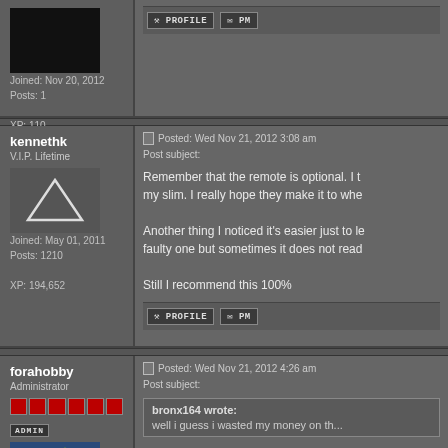Joined: Nov 20, 2012
Posts: 1
XP: 110
kennethk
V.I.P. Lifetime
Joined: May 01, 2011
Posts: 1210
XP: 194,652
Posted: Wed Nov 21, 2012 3:08 am
Post subject:
Remember that the remote is optional. I t... my slim. I really hope they make it to whe...

Another thing I noticed it's easier just to le... faulty one but sometimes it does not read...

Still I recommend this 100%
forahobby
Administrator
Posted: Wed Nov 21, 2012 4:26 am
Post subject:
bronx164 wrote:
well i guess i wasted my money on th...